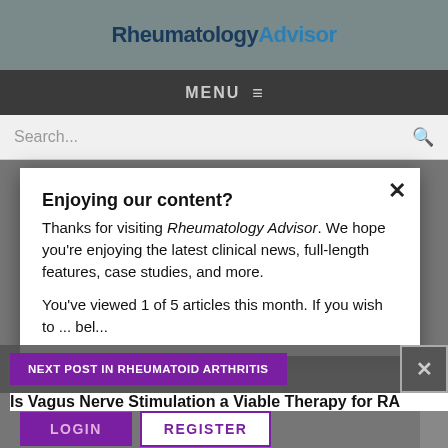RheumatologyAdvisor
MENU ≡
Search...
Enjoying our content?
Thanks for visiting Rheumatology Advisor. We hope you're enjoying the latest clinical news, full-length features, case studies, and more.
You've viewed 1 of 5 articles this month. If you wish to ... bel...
NEXT POST IN RHEUMATOID ARTHRITIS
Is Vagus Nerve Stimulation a Viable Therapy for RA
LOGIN
REGISTER